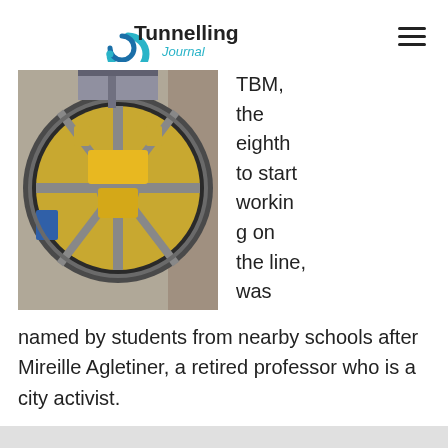Tunnelling Journal
[Figure (photo): Front face of a large Tunnel Boring Machine (TBM) photographed from inside a tunnel shaft, showing the circular cutter head with yellow machinery and equipment.]
TBM, the eighth to start working on the line, was named by students from nearby schools after Mireille Agletiner, a retired professor who is a city activist.
It will operate between...